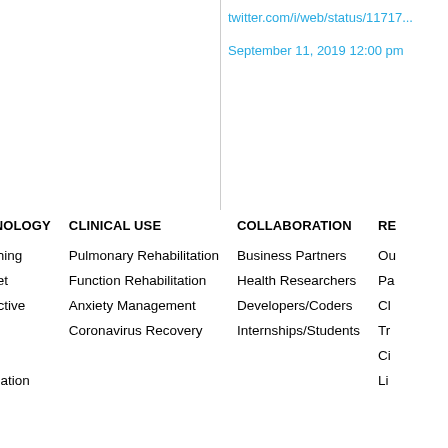twitter.com/i/web/status/11717...
September 11, 2019 12:00 pm
| TECHNOLOGY | CLINICAL USE | COLLABORATION | RE... |
| --- | --- | --- | --- |
| ...ching | Pulmonary Rehabilitation | Business Partners | Ou... |
| ...set | Function Rehabilitation | Health Researchers | Pa... |
| ...active | Anxiety Management | Developers/Coders | Cl... |
| ...a | Coronavirus Recovery | Internships/Students | Tr... |
| ...le |  |  | Ci... |
| ...ulation |  |  | Li... |